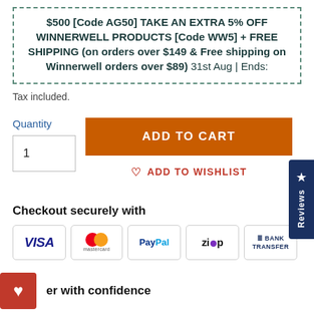$500 [Code AG50] TAKE AN EXTRA 5% OFF WINNERWELL PRODUCTS [Code WW5] + FREE SHIPPING (on orders over $149 & Free shipping on Winnerwell orders over $89) 31st Aug | Ends:
Tax included.
Quantity
ADD TO CART
ADD TO WISHLIST
Reviews
Checkout securely with
[Figure (infographic): Payment method icons: VISA, Mastercard, PayPal, Zip, Bank Transfer]
er with confidence